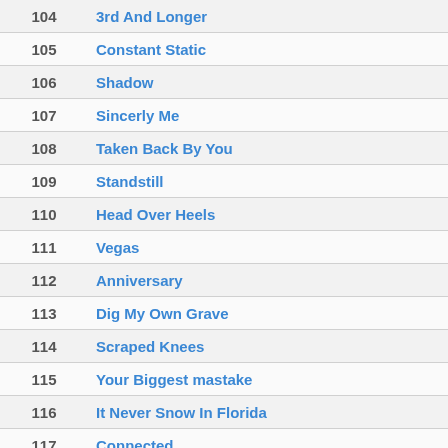| # | Title |
| --- | --- |
| 104 | 3rd And Longer |
| 105 | Constant Static |
| 106 | Shadow |
| 107 | Sincerly Me |
| 108 | Taken Back By You |
| 109 | Standstill |
| 110 | Head Over Heels |
| 111 | Vegas |
| 112 | Anniversary |
| 113 | Dig My Own Grave |
| 114 | Scraped Knees |
| 115 | Your Biggest mastake |
| 116 | It Never Snow In Florida |
| 117 | Connected |
| 118 | Seat Belt |
| 119 | Tonight It's Very Clear |